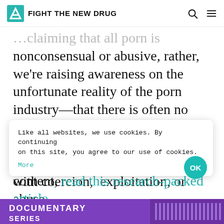FIGHT THE NEW DRUG
nonconsensual or abusive, rather, we're raising awareness on the unfortunate reality of the porn industry—that there is often no way to tell whether the porn a consumer views is completely consensual or if it was produced with coercion, exploitation, or abuse.
To learn more about how porn profits from nonconsensual content, read this research-packed article.
Like all websites, we use cookies. By continuing on this site, you agree to our use of cookies. More
[Figure (screenshot): Purple documentary series banner at bottom of page]